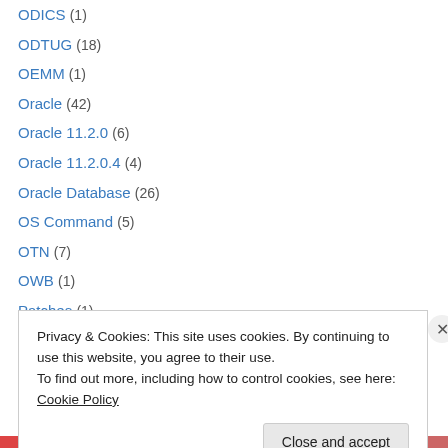ODICS (1)
ODTUG (18)
OEMM (1)
Oracle (42)
Oracle 11.2.0 (6)
Oracle 11.2.0.4 (4)
Oracle Database (26)
OS Command (5)
OTN (7)
OWB (1)
Patches (1)
PBCS (6)
Performance (17)
Privacy & Cookies: This site uses cookies. By continuing to use this website, you agree to their use.
To find out more, including how to control cookies, see here: Cookie Policy
Close and accept